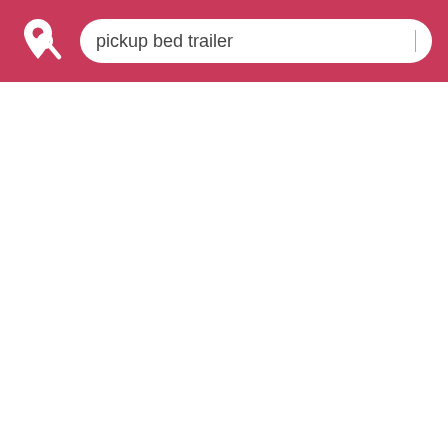[Figure (screenshot): Mobile app screenshot showing a crimson/rose-colored header bar with a white location pin icon (magnifying glass overlay) logo on the left, and a white rounded search box containing the text 'pickup bed trailer' with a cursor line, on a white background below.]